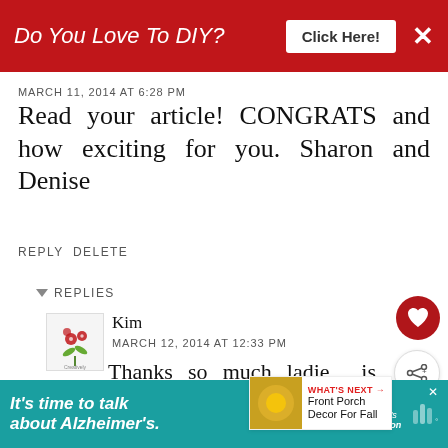[Figure (screenshot): Red banner advertisement: 'Do You Love To DIY? Click Here!' with close button]
MARCH 11, 2014 AT 6:28 PM
Read your article! CONGRATS and how exciting for you. Sharon and Denise
REPLY DELETE
REPLIES
Kim
MARCH 12, 2014 AT 12:33 PM
Thanks so much ladie... is exciting to see my... there!
[Figure (screenshot): Teal Alzheimer's advertisement bar at bottom: 'It's time to talk about Alzheimer's.' with Learn More button and Alzheimer's Association logo]